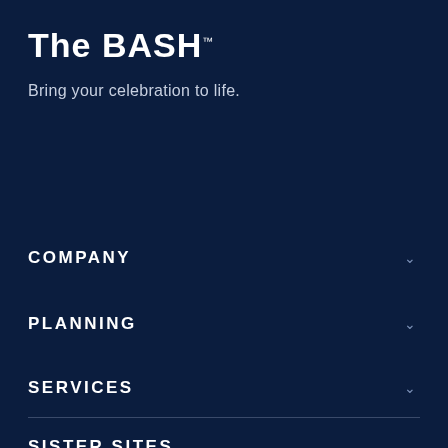The Bash™
Bring your celebration to life.
COMPANY
PLANNING
SERVICES
SISTER SITES